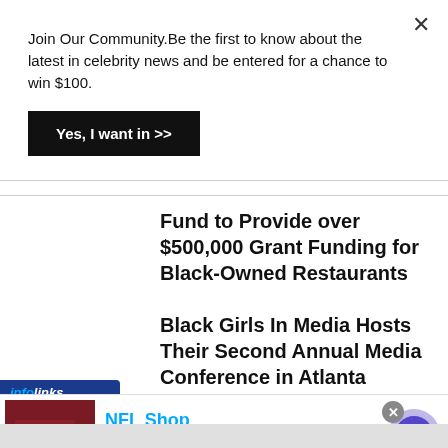Join Our Community.Be the first to know about the latest in celebrity news and be entered for a chance to win $100.
Yes, I want in >>
Fund to Provide over $500,000 Grant Funding for Black-Owned Restaurants
Black Girls In Media Hosts Their Second Annual Media Conference in Atlanta
[Figure (screenshot): infolinks advertisement banner with NFL Shop ad showing red jersey image, NFL Shop title in blue, 'Free shipping on orders over $25', 'www.nflshop.com', SHOP NOW button, and a purple circle arrow button]